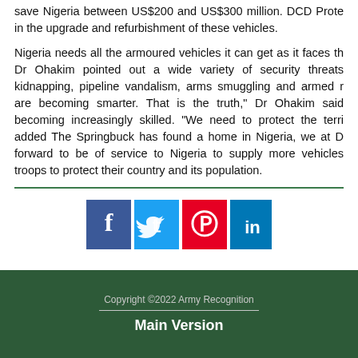save Nigeria between US$200 and US$300 million. DCD Prote in the upgrade and refurbishment of these vehicles.
Nigeria needs all the armoured vehicles it can get as it faces th Dr Ohakim pointed out a wide variety of security threats kidnapping, pipeline vandalism, arms smuggling and armed r are becoming smarter. That is the truth," Dr Ohakim said becoming increasingly skilled. "We need to protect the terri added The Springbuck has found a home in Nigeria, we at D forward to be of service to Nigeria to supply more vehicles troops to protect their country and its population.
[Figure (infographic): Social media share buttons: Facebook (blue), Twitter (light blue), Pinterest (red), LinkedIn (blue)]
Copyright ©2022 Army Recognition
Main Version